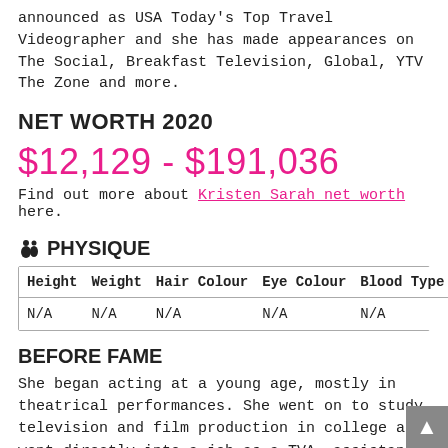announced as USA Today's Top Travel Videographer and she has made appearances on The Social, Breakfast Television, Global, YTV The Zone and more.
NET WORTH 2020
$12,129 - $191,036
Find out more about Kristen Sarah net worth here.
PHYSIQUE
| Height | Weight | Hair Colour | Eye Colour | Blood Type | Tattoo(s) |
| --- | --- | --- | --- | --- | --- |
| N/A | N/A | N/A | N/A | N/A | N/A |
BEFORE FAME
She began acting at a young age, mostly in theatrical performances. She went on to study television and film production in college and went directly into a job as a TVA, assistant floor director and talent manager at MTV Canada. She uploaded her first YouTube video during a 10-month trip she took around the world.